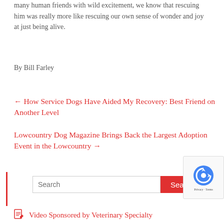many human friends with wild excitement, we know that rescuing him was really more like rescuing our own sense of wonder and joy at just being alive.
By Bill Farley
← How Service Dogs Have Aided My Recovery: Best Friend on Another Level
Lowcountry Dog Magazine Brings Back the Largest Adoption Event in the Lowcountry →
Search
Advertising Info
Video Sponsored by Veterinary Specialty